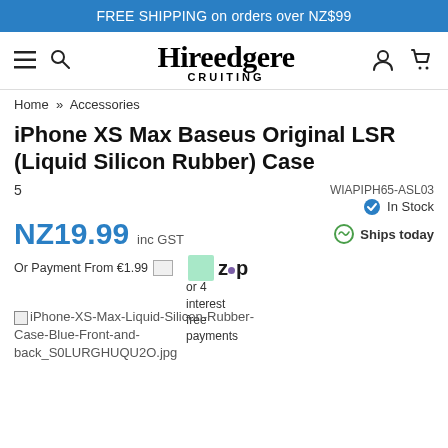FREE SHIPPING on orders over NZ$99
[Figure (logo): Hireedgere CRUITING logo with hamburger menu, search icon, user icon and cart icon]
Home » Accessories
iPhone XS Max Baseus Original LSR (Liquid Silicon Rubber) Case
5  WIAPIPH65-ASL03  In Stock  Ships today
NZ19.99 inc GST
Or Payment From €1.99  [image] [zip logo] or 4 interest free payments
iPhone-XS-Max-Liquid-Silicon-Rubber-Case-Blue-Front-and-back_S0LURGHUQU2O.jpg